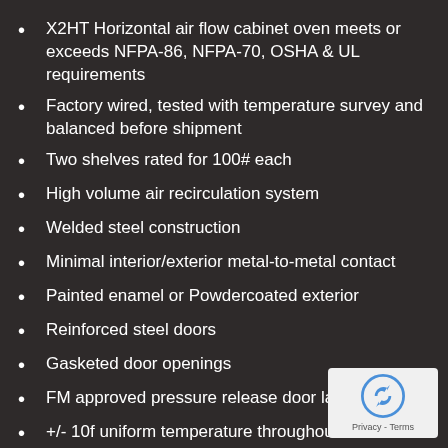X2HT Horizontal air flow cabinet oven meets or exceeds NFPA-86, NFPA-70, OSHA & UL requirements
Factory wired, tested with temperature survey and balanced before shipment
Two shelves rated for 100# each
High volume air recirculation system
Welded steel construction
Minimal interior/exterior metal-to-metal contact
Painted enamel or Powdercoated exterior
Reinforced steel doors
Gasketed door openings
FM approved pressure release door latches
+/- 10f uniform temperature throughout oven standard